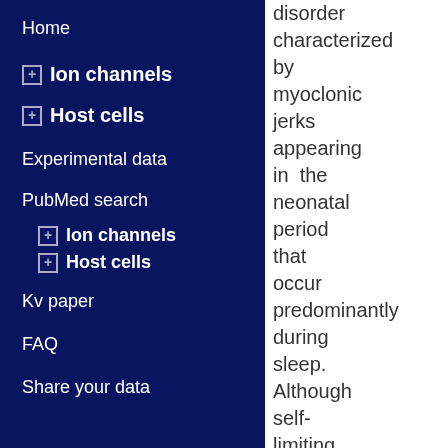Home
Ion channels
Host cells
Experimental data
PubMed search
Ion channels
Host cells
Kv paper
FAQ
Share your data
disorder characterized by myoclonic jerks appearing in the neonatal period that occur predominantly during sleep. Although self-limiting, the disorder